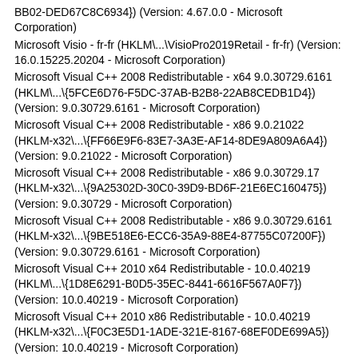BB02-DED67C8C6934}) (Version: 4.67.0.0 - Microsoft Corporation)
Microsoft Visio - fr-fr (HKLM\...\VisioPro2019Retail - fr-fr) (Version: 16.0.15225.20204 - Microsoft Corporation)
Microsoft Visual C++ 2008 Redistributable - x64 9.0.30729.6161 (HKLM\...\{5FCE6D76-F5DC-37AB-B2B8-22AB8CEDB1D4}) (Version: 9.0.30729.6161 - Microsoft Corporation)
Microsoft Visual C++ 2008 Redistributable - x86 9.0.21022 (HKLM-x32\...\{FF66E9F6-83E7-3A3E-AF14-8DE9A809A6A4}) (Version: 9.0.21022 - Microsoft Corporation)
Microsoft Visual C++ 2008 Redistributable - x86 9.0.30729.17 (HKLM-x32\...\{9A25302D-30C0-39D9-BD6F-21E6EC160475}) (Version: 9.0.30729 - Microsoft Corporation)
Microsoft Visual C++ 2008 Redistributable - x86 9.0.30729.6161 (HKLM-x32\...\{9BE518E6-ECC6-35A9-88E4-87755C07200F}) (Version: 9.0.30729.6161 - Microsoft Corporation)
Microsoft Visual C++ 2010 x64 Redistributable - 10.0.40219 (HKLM\...\{1D8E6291-B0D5-35EC-8441-6616F567A0F7}) (Version: 10.0.40219 - Microsoft Corporation)
Microsoft Visual C++ 2010 x86 Redistributable - 10.0.40219 (HKLM-x32\...\{F0C3E5D1-1ADE-321E-8167-68EF0DE699A5}) (Version: 10.0.40219 - Microsoft Corporation)
Microsoft Visual C++ 2012 Redistributable (x64) - 11.0.60610 (HKLM-x32\...\{a1909659-0a08-4554-8af1-21759049031}) (Version: 11.0.60610.1 - Microsoft Corporation)
Microsoft Visual C++ 2012 Redistributable (x64) - 11.0.61030 (HKLM-x32\...\{ca67548a-5ebe-413a-b50c-4b9ceb6d66c6}) (Version: 11.0.61030.0 - Microsoft Corporation)